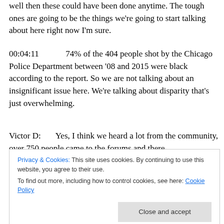well then these could have been done anytime. The tough ones are going to be the things we're going to start talking about here right now I'm sure.
00:04:11	74% of the 404 people shot by the Chicago Police Department between '08 and 2015 were black according to the report. So we are not talking about an insignificant issue here. We're talking about disparity that's just overwhelming.
Victor D:	Yes, I think we heard a lot from the community, over 750 people came to the forums and there
Privacy & Cookies: This site uses cookies. By continuing to use this website, you agree to their use.
To find out more, including how to control cookies, see here: Cookie Policy
Close and accept